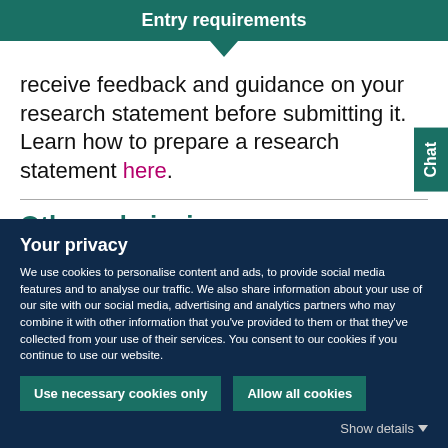Entry requirements
receive feedback and guidance on your research statement before submitting it. Learn how to prepare a research statement here.
Other admission requirements
Your privacy
We use cookies to personalise content and ads, to provide social media features and to analyse our traffic. We also share information about your use of our site with our social media, advertising and analytics partners who may combine it with other information that you've provided to them or that they've collected from your use of their services. You consent to our cookies if you continue to use our website.
Use necessary cookies only
Allow all cookies
Show details